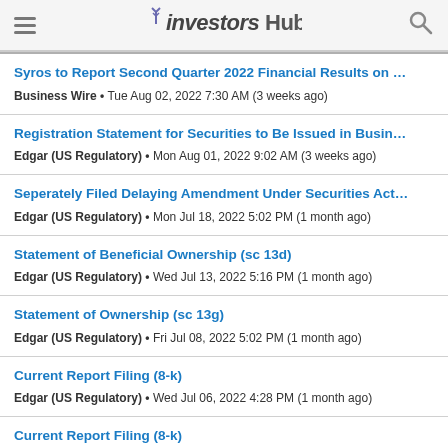InvestorsHub
Syros to Report Second Quarter 2022 Financial Results on … | Business Wire • Tue Aug 02, 2022 7:30 AM (3 weeks ago)
Registration Statement for Securities to Be Issued in Busin… | Edgar (US Regulatory) • Mon Aug 01, 2022 9:02 AM (3 weeks ago)
Seperately Filed Delaying Amendment Under Securities Act… | Edgar (US Regulatory) • Mon Jul 18, 2022 5:02 PM (1 month ago)
Statement of Beneficial Ownership (sc 13d) | Edgar (US Regulatory) • Wed Jul 13, 2022 5:16 PM (1 month ago)
Statement of Ownership (sc 13g) | Edgar (US Regulatory) • Fri Jul 08, 2022 5:02 PM (1 month ago)
Current Report Filing (8-k) | Edgar (US Regulatory) • Wed Jul 06, 2022 4:28 PM (1 month ago)
Current Report Filing (8-k) (partial, cut off)